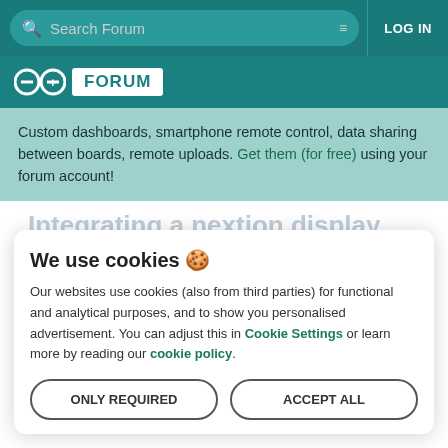Search Forum | LOG IN
[Figure (logo): Arduino forum logo with infinity symbol and FORUM badge on teal background]
Custom dashboards, smartphone remote control, data sharing between boards, remote uploads. Get them (for free) using your forum account!
Integrating a nextion display
Using Arduino · Programming Questions
We use cookies 🍪
Our websites use cookies (also from third parties) for functional and analytical purposes, and to show you personalised advertisement. You can adjust this in Cookie Settings or learn more by reading our cookie policy.
ONLY REQUIRED
ACCEPT ALL
Hi there, it's me again. I am trying to integrate a nextion display into a project. I am trying to have the servo go from 5 through 175 degrees. After that, I want it to listen to the display and have the display control the servo until the input from the display is greater than 100. After that I want it to